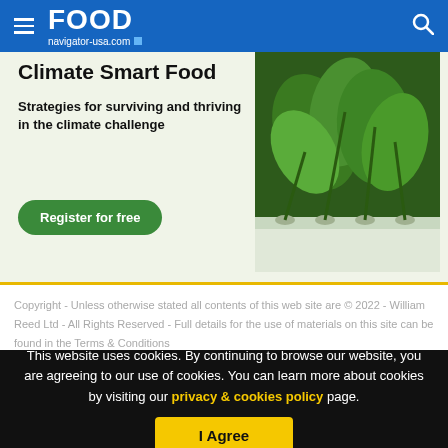FOOD navigator-usa.com
[Figure (illustration): Climate Smart Food banner ad with hydroponics plant image, text: Climate Smart Food - Strategies for surviving and thriving in the climate challenge - Register for free button]
Copyright - Unless otherwise stated all contents of this web site are © 2022 - William Reed Ltd - All Rights Reserved - Full details for the use of materials on this site can be found in the Terms & Conditions
This website uses cookies. By continuing to browse our website, you are agreeing to our use of cookies. You can learn more about cookies by visiting our privacy & cookies policy page.
I Agree